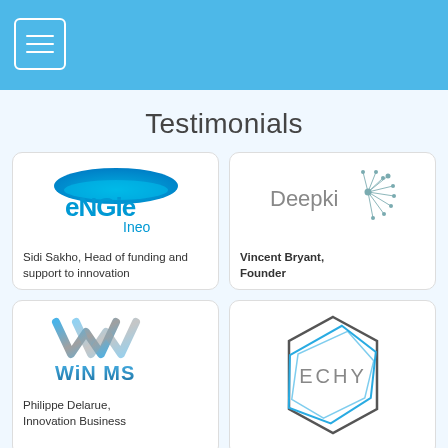Testimonials
[Figure (logo): ENGIE Ineo logo]
Sidi Sakho, Head of funding and support to innovation
[Figure (logo): Deepki logo]
Vincent Bryant, Founder
[Figure (logo): WINMS logo]
Philippe Delarue, Innovation Business
[Figure (logo): ECHY logo]